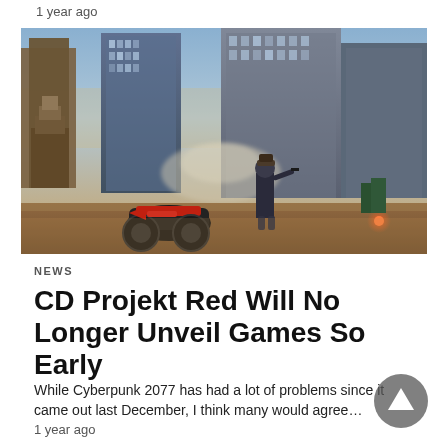1 year ago
[Figure (photo): Cyberpunk 2077 game screenshot showing a character standing with a motorcycle in a futuristic city at dusk]
NEWS
CD Projekt Red Will No Longer Unveil Games So Early
While Cyberpunk 2077 has had a lot of problems since it came out last December, I think many would agree…
1 year ago